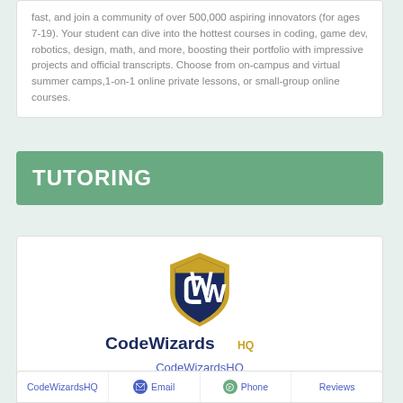fast, and join a community of over 500,000 aspiring innovators (for ages 7-19). Your student can dive into the hottest courses in coding, game dev, robotics, design, math, and more, boosting their portfolio with impressive projects and official transcripts. Choose from on-campus and virtual summer camps,1-on-1 online private lessons, or small-group online courses.
TUTORING
[Figure (logo): CodeWizardsHQ shield logo with gold and navy colors, CW initials]
CodeWizardsHQ
| CodeWizardsHQ | Email | Phone | Reviews |
| --- | --- | --- | --- |